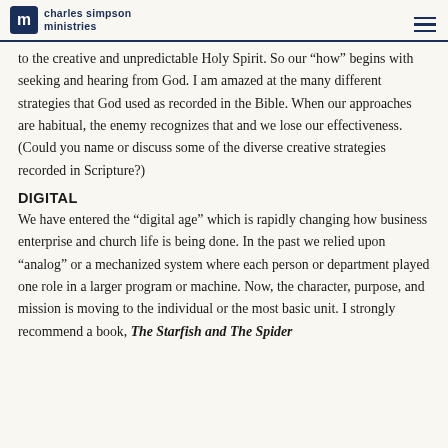charles simpson ministries
to the creative and unpredictable Holy Spirit. So our “how” begins with seeking and hearing from God. I am amazed at the many different strategies that God used as recorded in the Bible. When our approaches are habitual, the enemy recognizes that and we lose our effectiveness. (Could you name or discuss some of the diverse creative strategies recorded in Scripture?)
DIGITAL
We have entered the “digital age” which is rapidly changing how business enterprise and church life is being done. In the past we relied upon “analog” or a mechanized system where each person or department played one role in a larger program or machine. Now, the character, purpose, and mission is moving to the individual or the most basic unit. I strongly recommend a book, The Starfish and The Spider